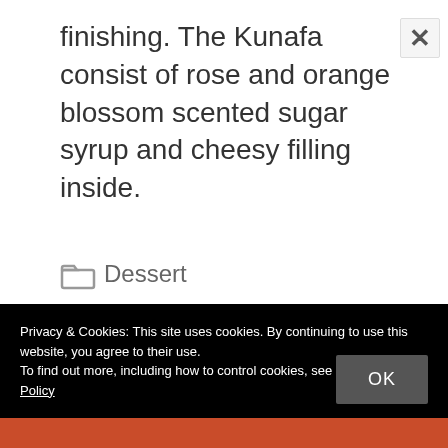finishing. The Kunafa consist of rose and orange blossom scented sugar syrup and cheesy filling inside.
Dessert
Arabian dish, dessert, How to make kunafa, Knafeh, knafeh recipe, kunafa,
Privacy & Cookies: This site uses cookies. By continuing to use this website, you agree to their use.
To find out more, including how to control cookies, see here: Cookie Policy
[Figure (other): Bottom image strip showing food (kunafa/knafeh dish)]